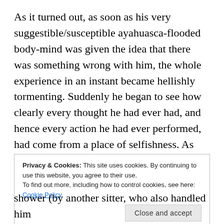As it turned out, as soon as his very suggestible/susceptible ayahuasca-flooded body-mind was given the idea that there was something wrong with him, the whole experience in an instant became hellishly tormenting. Suddenly he began to see how clearly every thought he had ever had, and hence every action he had ever performed, had come from a place of selfishness. As you might guess, this was unbearable to see. He later recalled clearly expressing at this moment something to the effect of, “So much ego…it’s all ego.”
Privacy & Cookies: This site uses cookies. By continuing to use this website, you agree to their use.
To find out more, including how to control cookies, see here: Cookie Policy
shower (by another sitter, who also handled him